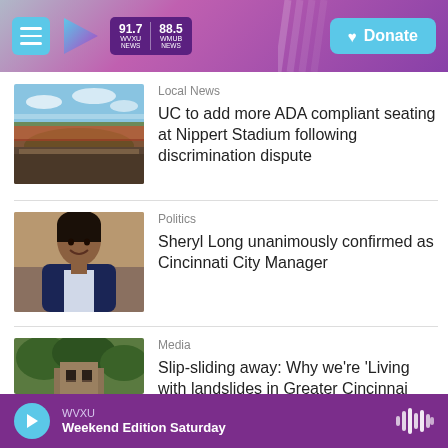91.7 WVXU NEWS | 88.5 WMUB NEWS | Donate
Local News
UC to add more ADA compliant seating at Nippert Stadium following discrimination dispute
Politics
Sheryl Long unanimously confirmed as Cincinnati City Manager
Media
Slip-sliding away: Why we're 'Living with landslides in Greater Cincinnati
WVXU | Weekend Edition Saturday